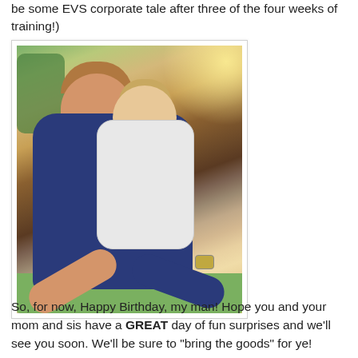be some EVS corporate tale after three of the four weeks of training!)
[Figure (photo): A man holding a toddler/baby in an outdoor setting. The man is wearing a dark blue plaid shirt and leaning forward toward the baby. The baby is wearing a light plaid shirt and appears to be looking to the side. Warm sunlight in the background with green grass.]
So, for now, Happy Birthday, my man! Hope you and your mom and sis have a GREAT day of fun surprises and we'll see you soon. We'll be sure to "bring the goods" for ye!